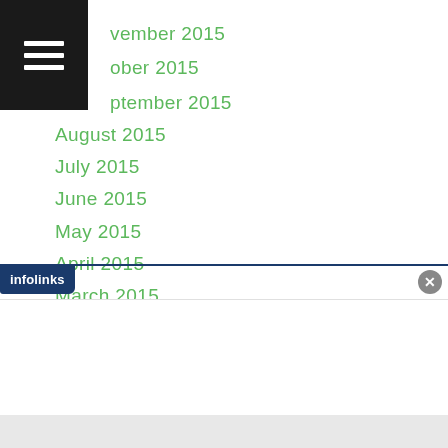November 2015
October 2015
September 2015
August 2015
July 2015
June 2015
May 2015
April 2015
March 2015
February 2015
January 2015
December 2014
November 2014
October 2014
September 2014
August 2014